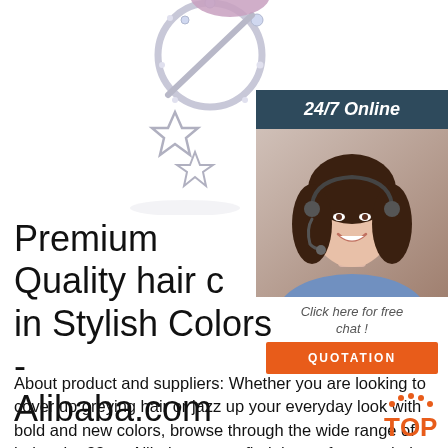[Figure (photo): Silver jewelry charm with star pendant and crystal-studded circular ring, photographed on white background]
[Figure (infographic): Advertisement box: '24/7 Online' header on dark teal background, photo of smiling female customer service representative wearing headset, text 'Click here for free chat!', orange QUOTATION button]
Premium Quality hair c… in Stylish Colors - Alibaba.com
About product and suppliers: Whether you are looking to cover up greying hair or jazz up your everyday look with bold and new colors, browse through the wide range of hair color 33 on Alibaba.com to find the perfect one hair color 33 are…
[Figure (logo): TOP logo with dotted arc above letters, orange color]